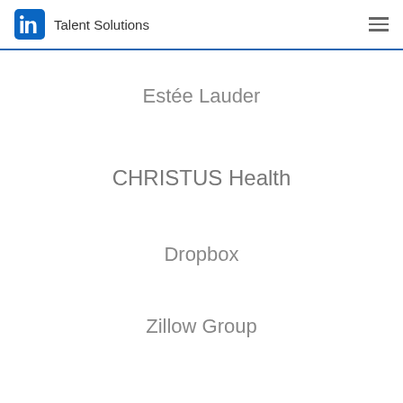LinkedIn Talent Solutions
Estée Lauder
CHRISTUS Health
Dropbox
Zillow Group